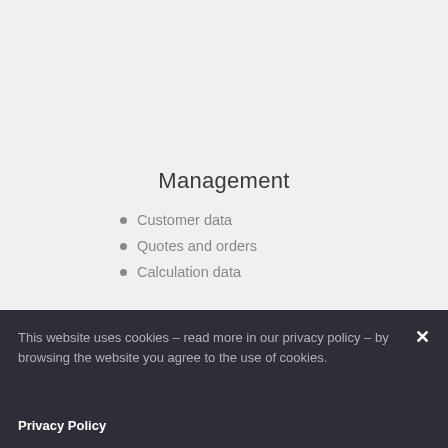Management
Customer data
Quotes and orders
Calculation data
This website uses cookies – read more in our privacy policy – by browsing the website you agree to the use of cookies.
Privacy Policy